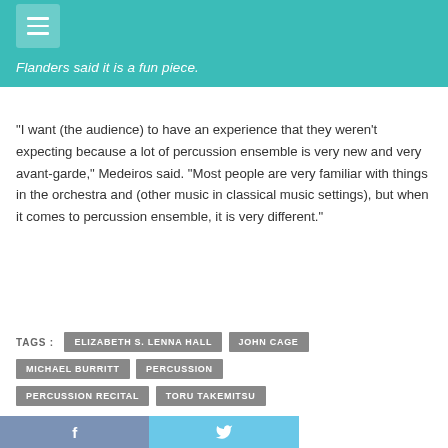[hamburger menu icon]
Flanders said it is a fun piece.
“I want (the audience) to have an experience that they weren’t expecting because a lot of percussion ensemble is very new and very avant-garde,” Medeiros said. “Most people are very familiar with things in the orchestra and (other music in classical music settings), but when it comes to percussion ensemble, it is very different.”
TAGS : ELIZABETH S. LENNA HALL  JOHN CAGE  MICHAEL BURRITT  PERCUSSION  PERCUSSION RECITAL  TORU TAKEMITSU
< PREVIOUS ARTICLE
artist and former School of A